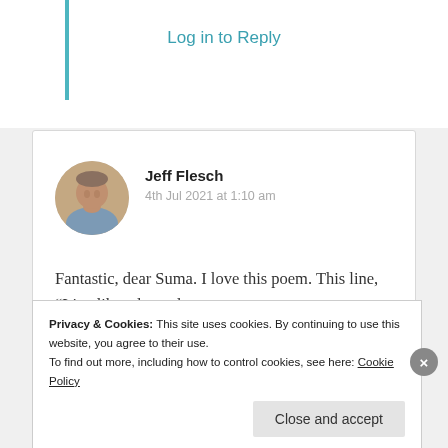Log in to Reply
[Figure (photo): Circular avatar photo of Jeff Flesch, a man in a blue/grey shirt]
Jeff Flesch
4th Jul 2021 at 1:10 am
Fantastic, dear Suma. I love this poem. This line, “Live like a legend

Until your travel end,” is so powerfully true. Just lovely. ❤
Privacy & Cookies: This site uses cookies. By continuing to use this website, you agree to their use.
To find out more, including how to control cookies, see here: Cookie Policy
Close and accept